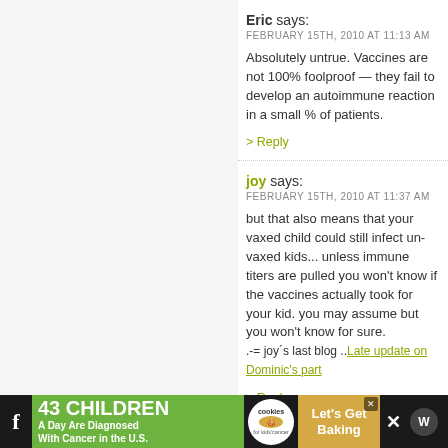Eric says: FEBRUARY 15TH, 2010 AT 11:13 AM
Absolutely untrue. Vaccines are not 100% foolproof — they fail to develop an autoimmune reaction in a small percentage of patients.
> Reply
joy says: FEBRUARY 15TH, 2010 AT 11:37 AM
but that also means that your vaxed child could still spread to un-vaxed kids... unless immune titers are pulled you won't know if the vaccines actually took for your kid. you may assume but you won't know for sure.
.-= joy's last blog ..Late update on Dominic's part...
> Reply
[Figure (other): Advertisement banner: 43 Children A Day Are Diagnosed With Cancer in the U.S. — cookies for kids' cancer — Let's Get Baking]